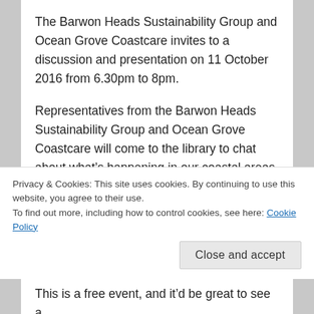The Barwon Heads Sustainability Group and Ocean Grove Coastcare invites to a discussion and presentation on 11 October 2016 from 6.30pm to 8pm.
Representatives from the Barwon Heads Sustainability Group and Ocean Grove Coastcare will come to the library to chat about what's happening in our coastal areas. Key points will be on learning more about the
Privacy & Cookies: This site uses cookies. By continuing to use this website, you agree to their use.
To find out more, including how to control cookies, see here: Cookie Policy
Close and accept
This is a free event, and it'd be great to see a